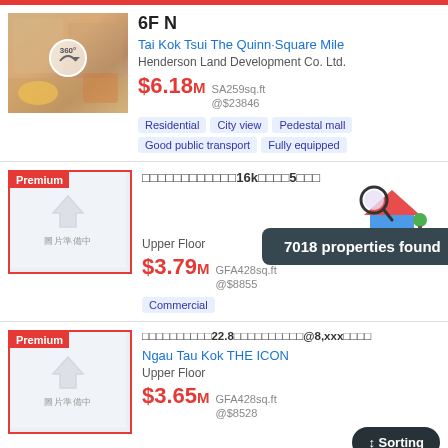[Figure (photo): Interior photo of an apartment room with furniture, with a 360-degree tour circle icon overlay]
6F N
Tai Kok Tsui The Quinn·Square Mile
Henderson Land Development Co. Ltd.
$6.18M SA259sq.ft @$23846
Residential  City view  Pedestal mall  Good public transport  Fully equipped
[Figure (photo): Placeholder image with house icon and 圖片準備中 text, Premium badge, listing with Chinese title showing 16k and 5]
7018 properties found
Upper Floor
$3.79M GFA428sq.ft @$8855
Commercial
[Figure (illustration): Cartoon house mascot with magnifying glass and 即睇業主盤 label]
[Figure (photo): Placeholder image with house icon and 圖片準備中 text, Premium badge]
□□□□□□□□□□22.8□□□□□□□□□□@8,xxx□□□□
Ngau Tau Kok THE ICON
Upper Floor
$3.65M GFA428sq.ft @$8528
Sorting